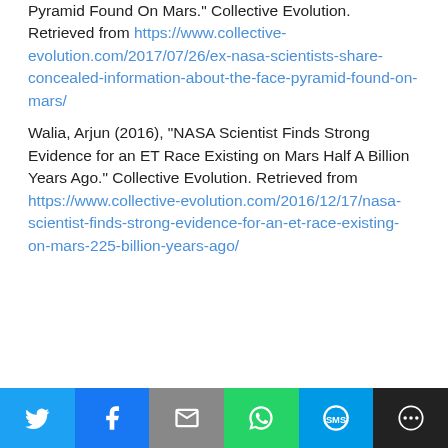Concealed Information About The Face & Pyramid Found On Mars." Collective Evolution. Retrieved from https://www.collective-evolution.com/2017/07/26/ex-nasa-scientists-share-concealed-information-about-the-face-pyramid-found-on-mars/
Walia, Arjun (2016), "NASA Scientist Finds Strong Evidence for an ET Race Existing on Mars Half A Billion Years Ago." Collective Evolution. Retrieved from https://www.collective-evolution.com/2016/12/17/nasa-scientist-finds-strong-evidence-for-an-et-race-existing-on-mars-225-billion-years-ago/